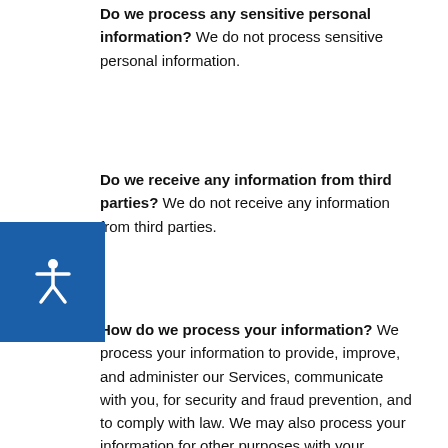Do we process any sensitive personal information? We do not process sensitive personal information.
Do we receive any information from third parties? We do not receive any information from third parties.
[Figure (illustration): Accessibility widget icon — a blue rounded square with a white person/accessibility symbol inside]
How do we process your information? We process your information to provide, improve, and administer our Services, communicate with you, for security and fraud prevention, and to comply with law. We may also process your information for other purposes with your consent. We process your information only when we have a valid legal reason